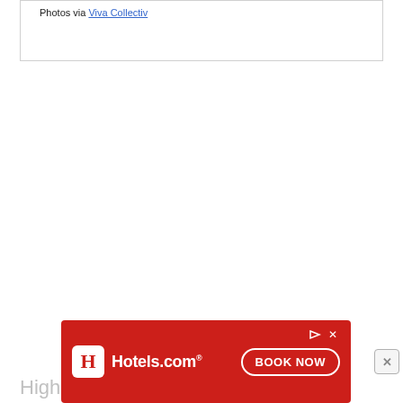Photos via Viva Collectiv
High
[Figure (screenshot): Hotels.com advertisement banner with red background, Hotels.com logo on left, and 'BOOK NOW' button on right]